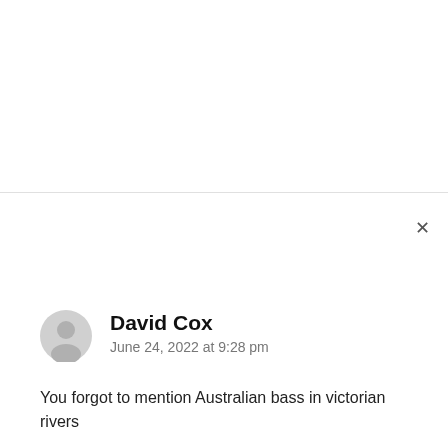[Figure (other): Horizontal divider line separating page sections]
×
[Figure (other): Grey circular user avatar icon for David Cox]
David Cox
June 24, 2022 at 9:28 pm
You forgot to mention Australian bass in victorian rivers
Reply
[Figure (illustration): Small illustrated avatar of a fisherman with hat]
Dave